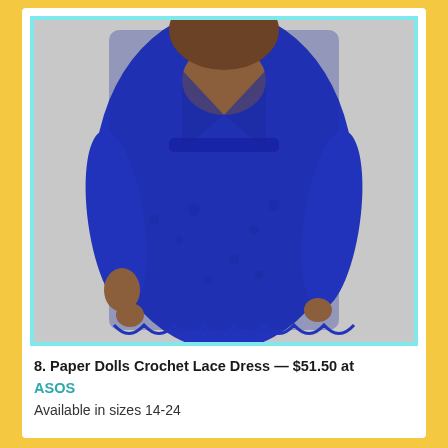[Figure (photo): A plus-size model wearing a royal blue crochet lace wrap-style dress with 3/4 sleeves and a V-neckline, photographed against a light grey background. The dress has a fitted silhouette with a scalloped hem.]
8. Paper Dolls Crochet Lace Dress — $51.50 at ASOS
Available in sizes 14-24